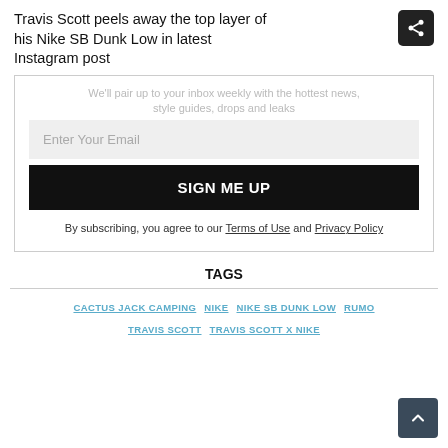Travis Scott peels away the top layer of his Nike SB Dunk Low in latest Instagram post
We'll pair up to your inbox weekly with the hottest news, style guides, drops and leaks
Enter Your Email
SIGN ME UP
By subscribing, you agree to our Terms of Use and Privacy Policy
TAGS
CACTUS JACK CAMPING
NIKE
NIKE SB DUNK LOW
RUMO
TRAVIS SCOTT
TRAVIS SCOTT X NIKE